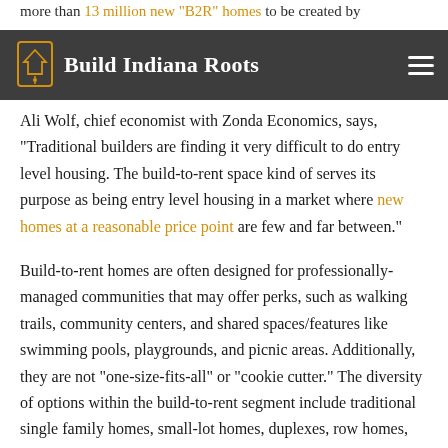more than 13 million new "B2R" homes to be created by 2030
Build Indiana Roots
Ali Wolf, chief economist with Zonda Economics, says, "Traditional builders are finding it very difficult to do entry level housing. The build-to-rent space kind of serves its purpose as being entry level housing in a market where new homes at a reasonable price point are few and far between."
Build-to-rent homes are often designed for professionally-managed communities that may offer perks, such as walking trails, community centers, and shared spaces/features like swimming pools, playgrounds, and picnic areas. Additionally, they are not “one-size-fits-all” or “cookie cutter.” The diversity of options within the build-to-rent segment include traditional single family homes, small-lot homes, duplexes, row homes, and “horizontal apartments” (i.e. multiple units